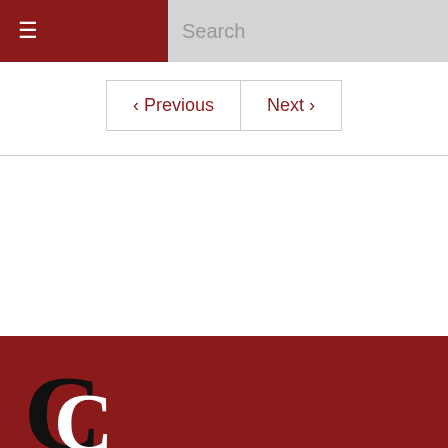☰  Search
‹ Previous   Next ›
Advertise
About Us
Contact us
Terms of Service
Privacy Policy
[Figure (logo): Large serif C logo mark in black and white on dark red background]